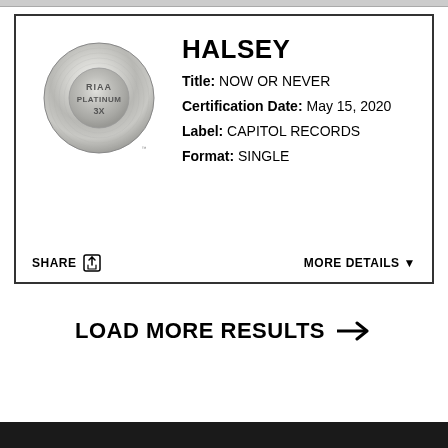[Figure (logo): RIAA Platinum 3X certification badge - circular metallic silver/grey disc with 'RIAA PLATINUM 3X' text]
HALSEY
Title: NOW OR NEVER
Certification Date: May 15, 2020
Label: CAPITOL RECORDS
Format: SINGLE
SHARE
MORE DETAILS ▼
LOAD MORE RESULTS →